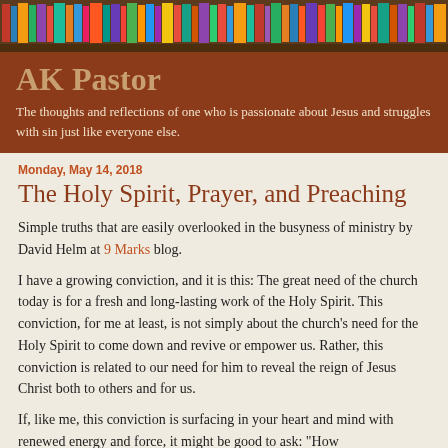[Figure (photo): Colorful books on a shelf viewed from front, serving as decorative header image for the blog]
AK Pastor
The thoughts and reflections of one who is passionate about Jesus and struggles with sin just like everyone else.
Monday, May 14, 2018
The Holy Spirit, Prayer, and Preaching
Simple truths that are easily overlooked in the busyness of ministry by David Helm at 9 Marks blog.
I have a growing conviction, and it is this: The great need of the church today is for a fresh and long-lasting work of the Holy Spirit. This conviction, for me at least, is not simply about the church's need for the Holy Spirit to come down and revive or empower us. Rather, this conviction is related to our need for him to reveal the reign of Jesus Christ both to others and for us.
If, like me, this conviction is surfacing in your heart and mind with renewed energy and force, it might be good to ask: "How